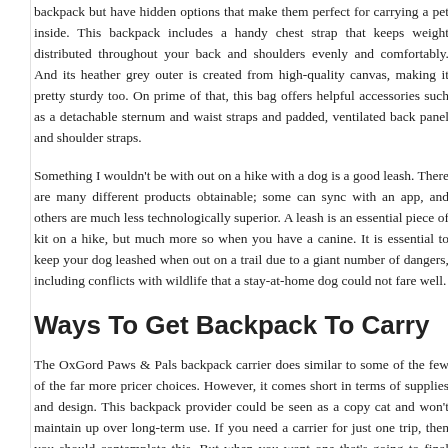backpack but have hidden options that make them perfect for carrying a pet inside. This backpack includes a handy chest strap that keeps weight distributed throughout your back and shoulders evenly and comfortably. And its heather grey outer is created from high-quality canvas, making it pretty sturdy too. On prime of that, this bag offers helpful accessories such as a detachable sternum and waist straps and padded, ventilated back panel and shoulder straps.
Something I wouldn't be with out on a hike with a dog is a good leash. There are many different products obtainable; some can sync with an app, and others are much less technologically superior. A leash is an essential piece of kit on a hike, but much more so when you have a canine. It is essential to keep your dog leashed when out on a trail due to a giant number of dangers, including conflicts with wildlife that a stay-at-home dog could not fare well.
Ways To Get Backpack To Carry
The OxGord Paws & Pals backpack carrier does similar to some of the few of the far more pricer choices. However, it comes short in terms of supplies and design. This backpack provider could be seen as a copy cat and won't maintain up over long-term use. If you need a carrier for just one trip, then you should contemplate this. But when you want one that's going to final and be succesful of go on quite a few trips, look elsewhere.
At 18 inches lengthy x eleven inches broad x 11 in...